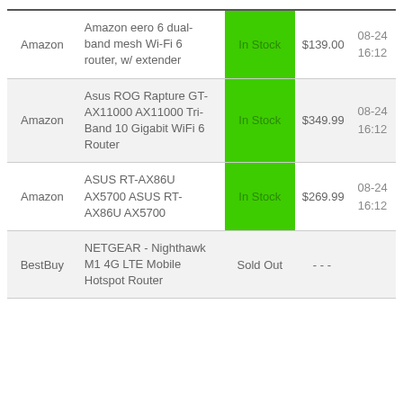| Retailer | Product | Status | Price | Date |
| --- | --- | --- | --- | --- |
| Amazon | Amazon eero 6 dual-band mesh Wi-Fi 6 router, w/ extender | In Stock | $139.00 | 08-24 16:12 |
| Amazon | Asus ROG Rapture GT-AX11000 AX11000 Tri-Band 10 Gigabit WiFi 6 Router | In Stock | $349.99 | 08-24 16:12 |
| Amazon | ASUS RT-AX86U AX5700 ASUS RT-AX86U AX5700 | In Stock | $269.99 | 08-24 16:12 |
| BestBuy | NETGEAR - Nighthawk M1 4G LTE Mobile Hotspot Router | Sold Out | - - - |  |